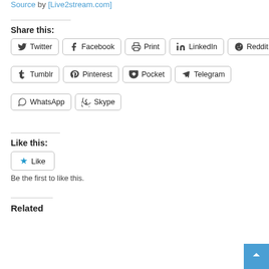Source by [Live2stream.com]
Share this:
Twitter Facebook Print LinkedIn Reddit Tumblr Pinterest Pocket Telegram WhatsApp Skype
Like this:
Like
Be the first to like this.
Related